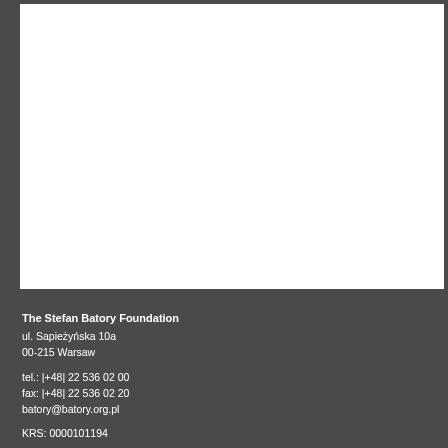[Figure (other): White rectangular area on dark gray background, upper portion of page]
The Stefan Batory Foundation
ul. Sapieżyńska 10a
00-215 Warsaw

tel.: |+48| 22 536 02 00
fax: |+48| 22 536 02 20
batory@batory.org.pl

KRS: 0000101194